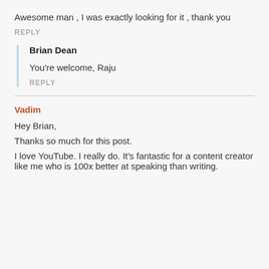Awesome man , I was exactly looking for it , thank you
REPLY
Brian Dean
You're welcome, Raju
REPLY
Vadim
Hey Brian,
Thanks so much for this post.
I love YouTube. I really do. It's fantastic for a content creator like me who is 100x better at speaking than writing.